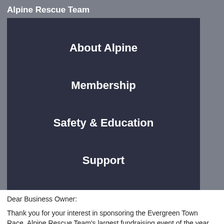Alpine Rescue Team
About Alpine
Membership
Safety & Education
Support
Dear Business Owner:
Thank you for your interest in sponsoring the Evergreen Town Race, Alpine Rescue Team's largest fundraising event of the year. As this is our 19th